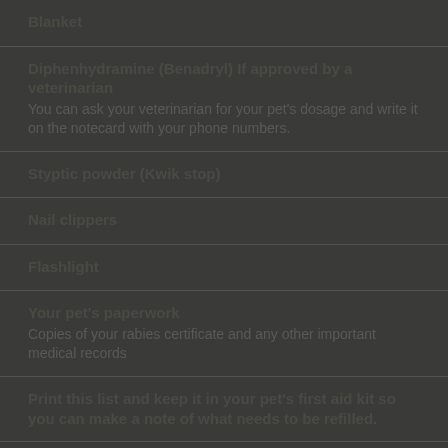Blanket
Diphenhydramine (Benadryl) If approved by a veterinarian
You can ask your veterinarian for your pet's dosage and write it on the notecard with your phone numbers.
Styptic powder (Kwik stop)
Nail clippers
Flashlight
Your pet's paperwork
Copies of your rabies certificate and any other important medical records
Print this list and keep it in your pet's first aid kit so you can make a note of what needs to be refilled.
Pens/Pencils and Notepaper
PRINT THIS LIST →